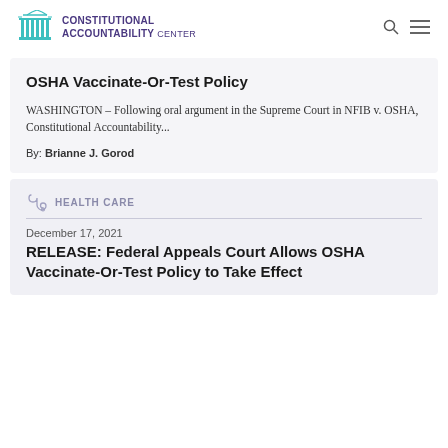CONSTITUTIONAL ACCOUNTABILITY CENTER
OSHA Vaccinate-Or-Test Policy
WASHINGTON – Following oral argument in the Supreme Court in NFIB v. OSHA, Constitutional Accountability...
By: Brianne J. Gorod
HEALTH CARE
December 17, 2021
RELEASE: Federal Appeals Court Allows OSHA Vaccinate-Or-Test Policy to Take Effect